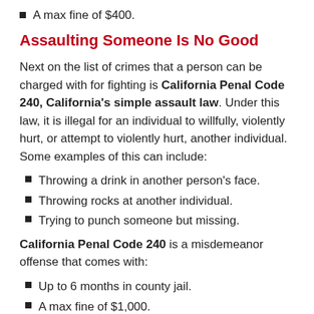A max fine of $400.
Assaulting Someone Is No Good
Next on the list of crimes that a person can be charged with for fighting is California Penal Code 240, California’s simple assault law. Under this law, it is illegal for an individual to willfully, violently hurt, or attempt to violently hurt, another individual. Some examples of this can include:
Throwing a drink in another person’s face.
Throwing rocks at another individual.
Trying to punch someone but missing.
California Penal Code 240 is a misdemeanor offense that comes with:
Up to 6 months in county jail.
A max fine of $1,000.
Misdemeanor probation.